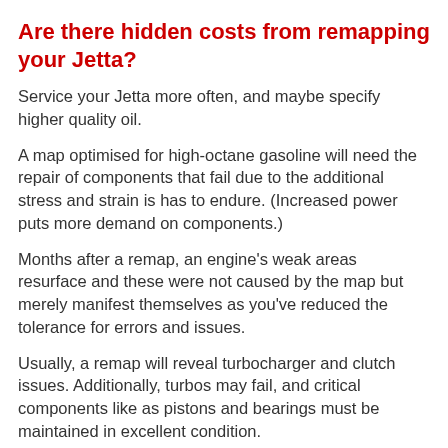Are there hidden costs from remapping your Jetta?
Service your Jetta more often, and maybe specify higher quality oil.
A map optimised for high-octane gasoline will need the repair of components that fail due to the additional stress and strain is has to endure. (Increased power puts more demand on components.)
Months after a remap, an engine's weak areas resurface and these were not caused by the map but merely manifest themselves as you've reduced the tolerance for errors and issues.
Usually, a remap will reveal turbocharger and clutch issues. Additionally, turbos may fail, and critical components like as pistons and bearings must be maintained in excellent condition.
Remaps for NASP Jettas?